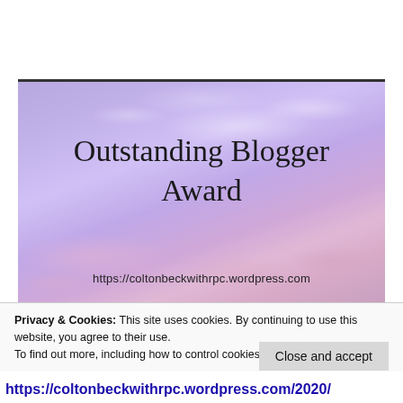[Figure (illustration): Outstanding Blogger Award graphic with purple/pink sky and clouds background. Text reads 'Outstanding Blogger Award' and 'https://coltonbeckwithrpc.wordpress.com']
Privacy & Cookies: This site uses cookies. By continuing to use this website, you agree to their use.
To find out more, including how to control cookies, see here: Cookie Policy
Close and accept
https://coltonbeckwithrpc.wordpress.com/2020/